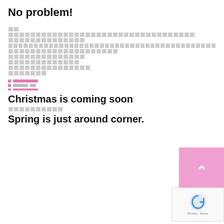No problem!
[Thai text block - placeholder characters]
Christmas is coming soon
[Thai text - placeholder characters]
Spring is just around corner.